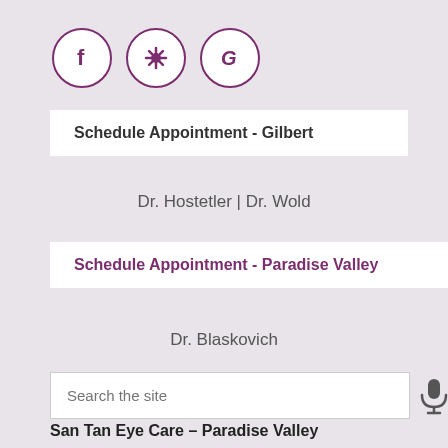[Figure (logo): Three social media icon circles: Facebook (f), Yelp (asterisk/flower), Google (G), each with purple border on white background]
Schedule Appointment - Gilbert
Dr. Hostetler | Dr. Wold
Schedule Appointment - Paradise Valley
Dr. Blaskovich
Search the site
San Tan Eye Care – Paradise Valley